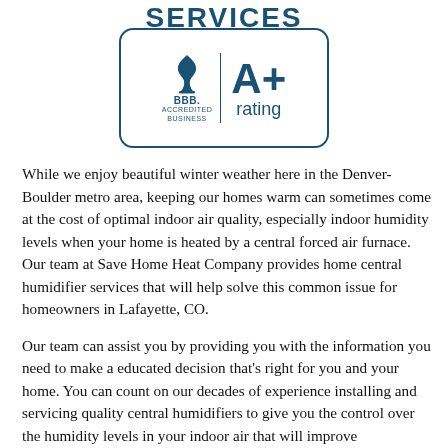SERVICES
[Figure (logo): BBB Accredited Business A+ rating logo in blue with rounded rectangle border]
While we enjoy beautiful winter weather here in the Denver-Boulder metro area, keeping our homes warm can sometimes come at the cost of optimal indoor air quality, especially indoor humidity levels when your home is heated by a central forced air furnace. Our team at Save Home Heat Company provides home central humidifier services that will help solve this common issue for homeowners in Lafayette, CO.
Our team can assist you by providing you with the information you need to make a educated decision that's right for you and your home. You can count on our decades of experience installing and servicing quality central humidifiers to give you the control over the humidity levels in your indoor air that will improve